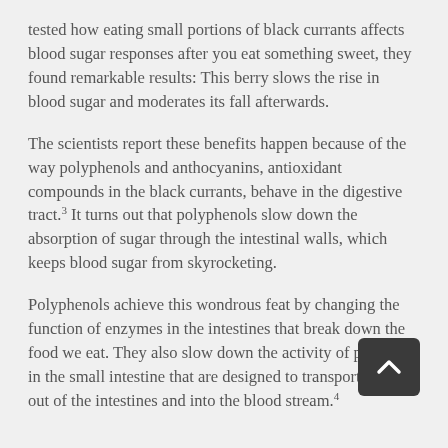tested how eating small portions of black currants affects blood sugar responses after you eat something sweet, they found remarkable results: This berry slows the rise in blood sugar and moderates its fall afterwards.
The scientists report these benefits happen because of the way polyphenols and anthocyanins, antioxidant compounds in the black currants, behave in the digestive tract.3 It turns out that polyphenols slow down the absorption of sugar through the intestinal walls, which keeps blood sugar from skyrocketing.
Polyphenols achieve this wondrous feat by changing the function of enzymes in the intestines that break down the food we eat. They also slow down the activity of proteins in the small intestine that are designed to transport sugar out of the intestines and into the blood stream.4